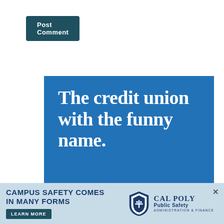[Figure (screenshot): Post Comment button — dark teal rounded rectangle with white bold text 'Post Comment']
[Figure (infographic): Blue advertisement banner reading 'The credit union with the funny name.' in large white serif bold text on blue background]
[Figure (infographic): Cal Poly Public Safety banner ad: light blue background, text 'CAMPUS SAFETY COMES IN MANY FORMS', green 'LEARN MORE' button, Cal Poly shield logo and 'Cal Poly Public Safety Administration & Finance' text]